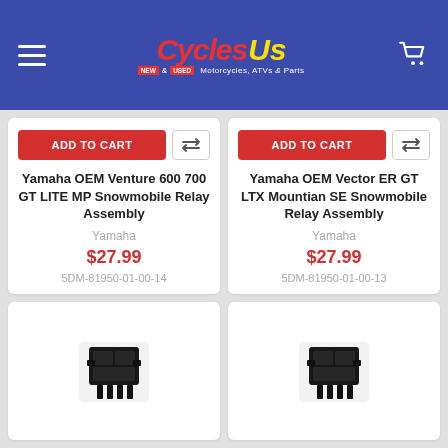Cycles Us — Motorcycles, ATVs & Parts
Yamaha OEM Venture 600 700 GT LITE MP Snowmobile Relay Assembly | Yamaha | $27.99 | 5DM-81950-01-00-14
Yamaha OEM Vector ER GT LTX Mountian SE Snowmobile Relay Assembly | Yamaha | $27.99 | 5DM-81950-01-00-13
[Figure (photo): Black snowmobile relay assembly component]
[Figure (photo): Black snowmobile relay assembly component]